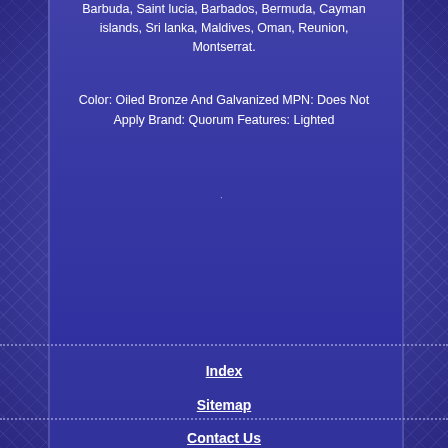Barbuda, Saint lucia, Barbados, Bermuda, Cayman islands, Sri lanka, Maldives, Oman, Reunion, Montserrat.
Color: Oiled Bronze And Galvanized MPN: Does Not Apply Brand: Quorum Features: Lighted
Index
Sitemap
Contact Us
Privacy Policy Agreement
Terms of Use